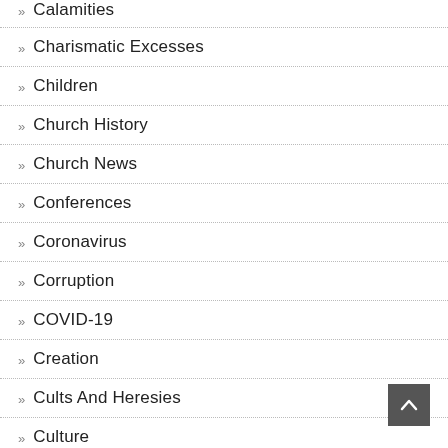Calamities
Charismatic Excesses
Children
Church History
Church News
Conferences
Coronavirus
Corruption
COVID-19
Creation
Cults And Heresies
Culture